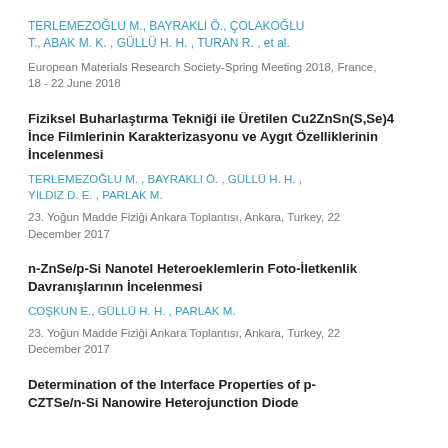TERLEMEZOĞLU M., BAYRAKLI Ö., ÇOLAKOĞLU T., ABAK M. K. , GÜLLÜ H. H. , TURAN R. , et al.
European Materials Research Society-Spring Meeting 2018, France, 18 - 22 June 2018
Fiziksel Buharlaştırma Tekniği ile Üretilen Cu2ZnSn(S,Se)4 İnce Filmlerinin Karakterizasyonu ve Aygıt Özelliklerinin İncelenmesi
TERLEMEZOĞLU M. , BAYRAKLI Ö. , GÜLLÜ H. H. , YILDIZ D. E. , PARLAK M.
23. Yoğun Madde Fiziği Ankara Toplantısı, Ankara, Turkey, 22 December 2017
n-ZnSe/p-Si Nanotel Heteroeklemlerin Foto-İletkenlik Davranışlarının İncelenmesi
COŞKUN E., GÜLLÜ H. H. , PARLAK M.
23. Yoğun Madde Fiziği Ankara Toplantısı, Ankara, Turkey, 22 December 2017
Determination of the Interface Properties of p-CZTSe/n-Si Nanowire Heterojunction Diode